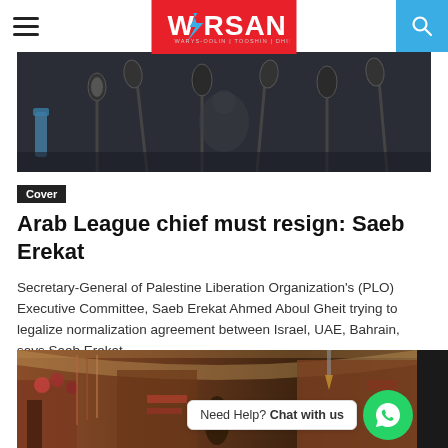WARSAN
[Figure (photo): Dark photo of microphones at a press conference podium]
Cover
Arab League chief must resign: Saeb Erekat
Secretary-General of Palestine Liberation Organization's (PLO) Executive Committee, Saeb Erekat Ahmed Aboul Gheit trying to legalize normalization agreement between Israel, UAE, Bahrain, says Saeb Erekat...
[Figure (photo): Photo of a Middle Eastern bazaar/market with colorful goods displayed]